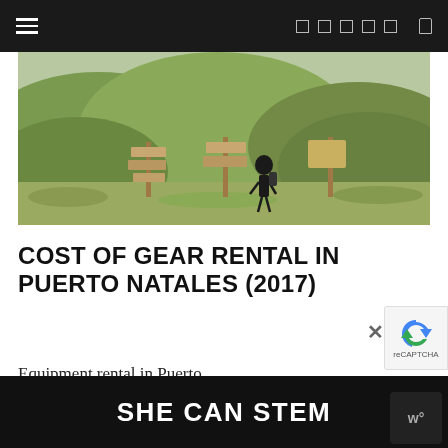Navigation bar with hamburger menu and icons
[Figure (photo): Outdoor landscape photo showing a hiker in black clothing walking through a green meadow with wooden signpost poles in the foreground and rolling hills in the background]
COST OF GEAR RENTAL IN PUERTO NATALES (2017)
Equipment rental in Puerto Natales was way more affordable than...
SHE CAN STEM